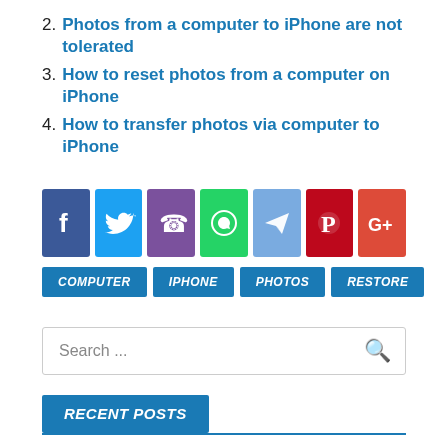2. Photos from a computer to iPhone are not tolerated
3. How to reset photos from a computer on iPhone
4. How to transfer photos via computer to iPhone
[Figure (infographic): Row of 7 social share icon buttons: Facebook (dark blue), Twitter (light blue), Viber (purple), WhatsApp (green), Telegram (blue-grey), Pinterest (red), Google+ (orange-red)]
COMPUTER
IPHONE
PHOTOS
RESTORE
Search ...
RECENT POSTS
What to do if the memory ends on the iPhone